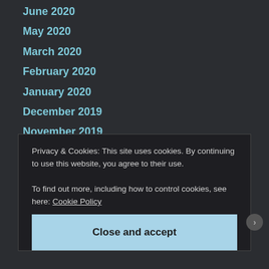June 2020
May 2020
March 2020
February 2020
January 2020
December 2019
November 2019
September 2019
August 2019
June 2019
May 2019
Privacy & Cookies: This site uses cookies. By continuing to use this website, you agree to their use.
To find out more, including how to control cookies, see here: Cookie Policy
Close and accept